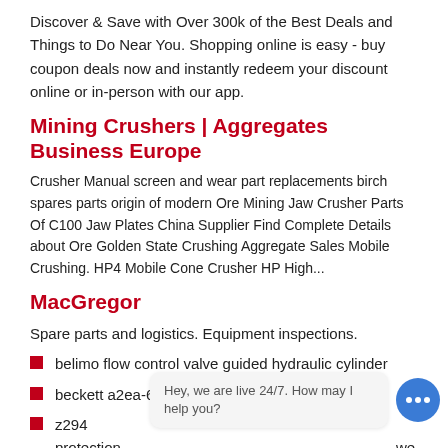Discover & Save with Over 300k of the Best Deals and Things to Do Near You. Shopping online is easy - buy coupon deals now and instantly redeem your discount online or in-person with our app.
Mining Crushers | Aggregates Business Europe
Crusher Manual screen and wear part replacements birch spares parts origin of modern Ore Mining Jaw Crusher Parts Of C100 Jaw Plates China Supplier Find Complete Details about Ore Golden State Crushing Aggregate Sales Mobile Crushing. HP4 Mobile Cone Crusher HP High...
MacGregor
Spare parts and logistics. Equipment inspections.
belimo flow control valve guided hydraulic cylinder
beckett a2ea-6520 gun drilling aluminum
z294 protection ... summer skirts